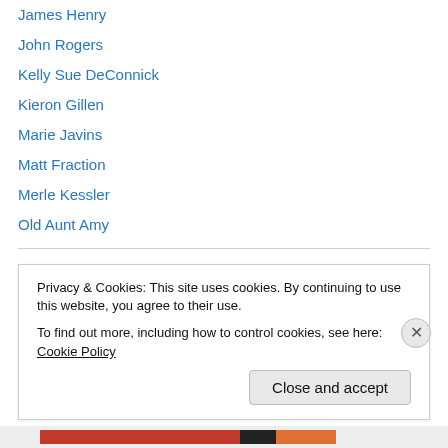James Henry
John Rogers
Kelly Sue DeConnick
Kieron Gillen
Marie Javins
Matt Fraction
Merle Kessler
Old Aunt Amy
Comics Tutorials
D'Israeli
Dave A. Law
Privacy & Cookies: This site uses cookies. By continuing to use this website, you agree to their use.
To find out more, including how to control cookies, see here: Cookie Policy
Close and accept